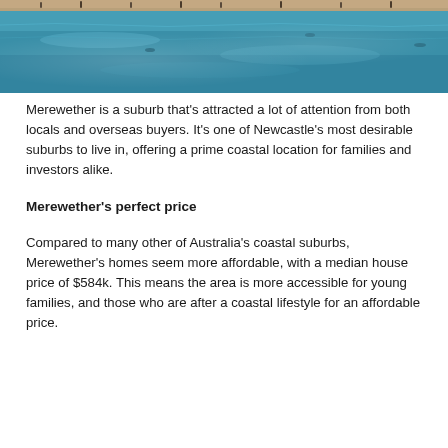[Figure (photo): Aerial or ground-level photo of a beach/ocean scene, showing blue-green water with swimmers and a sandy beach area at the top. Merewether beach, Newcastle, Australia.]
Merewether is a suburb that's attracted a lot of attention from both locals and overseas buyers. It's one of Newcastle's most desirable suburbs to live in, offering a prime coastal location for families and investors alike.
Merewether's perfect price
Compared to many other of Australia's coastal suburbs, Merewether's homes seem more affordable, with a median house price of $584k. This means the area is more accessible for young families, and those who are after a coastal lifestyle for an affordable price.